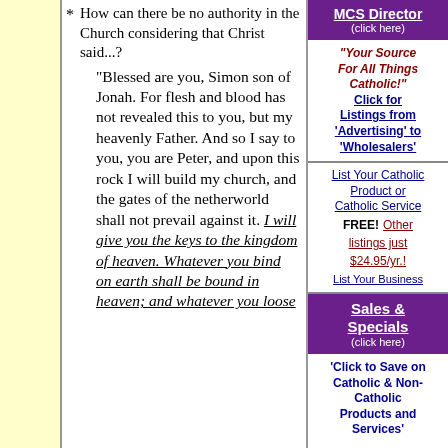* How can there be no authority in the Church considering that Christ said...?
"Blessed are you, Simon son of Jonah. For flesh and blood has not revealed this to you, but my heavenly Father. And so I say to you, you are Peter, and upon this rock I will build my church, and the gates of the netherworld shall not prevail against it. I will give you the keys to the kingdom of heaven. Whatever you bind on earth shall be bound in heaven; and whatever you loose
MCS Director (click here)
"Your Source For All Things Catholic!"
Click for Listings from 'Advertising' to 'Wholesalers'
List Your Catholic Product or Catholic Service FREE! Other listings just $24.95/yr.!
List Your Business
Sales & Specials (click here)
'Click to Save on Catholic & Non-Catholic Products and Services'